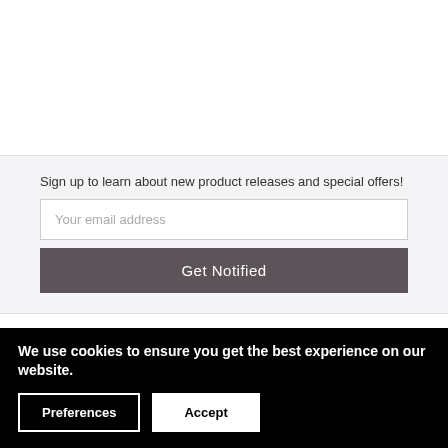Sign up to learn about new product releases and special offers!
Your email address
Get Notified
Order History
Ordering & Shipping
Returns & Exchanges
Store Credit
Customer Service
1-877-992-5474
Terms of Service
Privacy Policy
Copyright Policy
Cookie Policy
We use cookies to ensure you get the best experience on our website.
Preferences
Accept